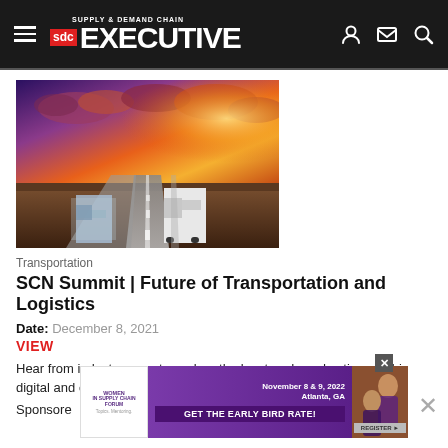SDC Supply & Demand Chain Executive
[Figure (photo): Highway with trucks and dramatic sunset sky with clouds]
Transportation
SCN Summit | Future of Transportation and Logistics
Date: December 8, 2021
VIEW
Hear from industry experts explore the key trends and actions in this digital and customer-centric journey.
Sponsored
[Figure (infographic): Women in Supply Chain Forum advertisement banner - November 8 & 9, 2022, Atlanta, GA - GET THE EARLY BIRD RATE! REGISTER]